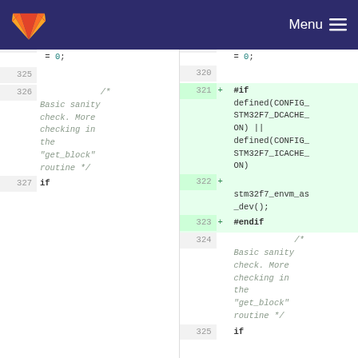GitLab Menu
[Figure (screenshot): Code diff view showing two columns of source code. Left column (old) shows lines 325-327 with line 325 empty and line 326 containing a comment '/* Basic sanity check. More checking in the "get_block" routine */' and line 327 showing 'if'. Right column (new) shows lines 320-325 with lines 321-323 added (highlighted green) containing '#if defined(CONFIG_STM32F7_DCACHE_ON) || defined(CONFIG_STM32F7_ICACHE_ON)', 'stm32f7_envm_as_dev();', '#endif', and line 324 containing the same comment as left side 325.]